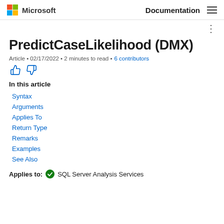Microsoft   Documentation ☰
PredictCaseLikelihood (DMX)
Article • 02/17/2022 • 2 minutes to read • 6 contributors
In this article
Syntax
Arguments
Applies To
Return Type
Remarks
Examples
See Also
Applies to:  SQL Server Analysis Services